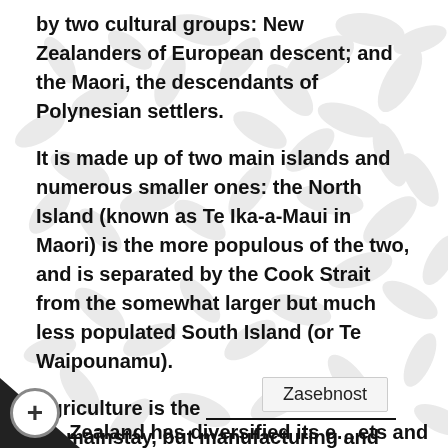by two cultural groups: New Zealanders of European descent; and the Maori, the descendants of Polynesian settlers.
It is made up of two main islands and numerous smaller ones: the North Island (known as Te Ika-a-Maui in Maori) is the more populous of the two, and is separated by the Cook Strait from the somewhat larger but much less populated South Island (or Te Waipounamu).
Agriculture is the ___________________ (1) mainstay, but manufacturing and tourism are important and there is a world-class film industry.
New Zealand has diversified its e[...] ets and